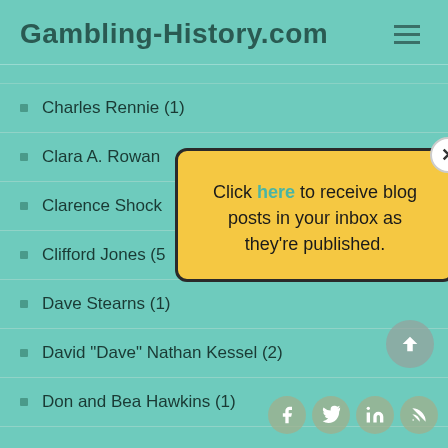Gambling-History.com
Charles Rennie (1)
Clara A. Rowan
Clarence Shock
Clifford Jones (5
Dave Stearns (1)
David "Dave" Nathan Kessel (2)
Don and Bea Hawkins (1)
[Figure (screenshot): Popup modal with yellow background asking user to click 'here' to receive blog posts in inbox as they're published, with close button]